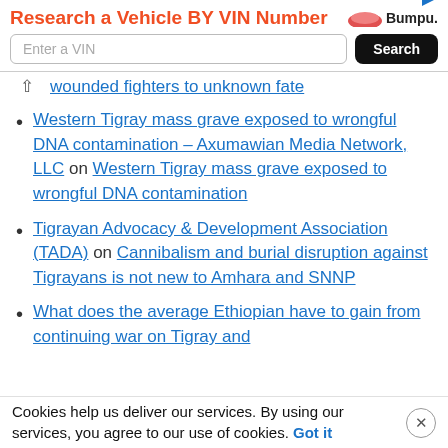[Figure (screenshot): Advertisement banner: 'Research a Vehicle BY VIN Number' with Bumper logo, VIN input field and Search button]
wounded fighters to unknown fate (truncated, link)
Western Tigray mass grave exposed to wrongful DNA contamination – Axumawian Media Network, LLC on Western Tigray mass grave exposed to wrongful DNA contamination
Tigrayan Advocacy & Development Association (TADA) on Cannibalism and burial disruption against Tigrayans is not new to Amhara and SNNP
What does the average Ethiopian have to gain from continuing war on Tigray and (truncated)
Cookies help us deliver our services. By using our services, you agree to our use of cookies. Got it